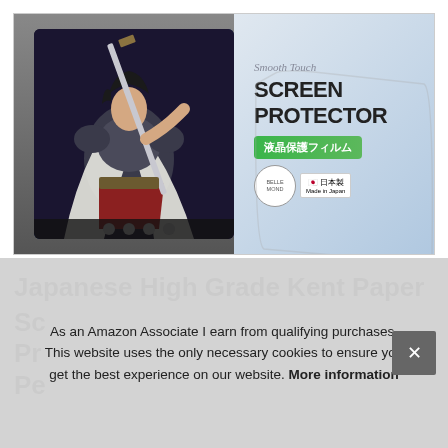[Figure (photo): Product photo of a screen protector package. Left side shows a tablet displaying an anime warrior character drawing. Right side shows the packaging with text 'SCREEN PROTECTOR', Japanese text '液晶保護フィルム' on a green banner, BELLEMOND brand badge, and 'Made in Japan' / '日本製' label.]
Japanese High Grade Kent Paper
Sc
Pr
Pe
As an Amazon Associate I earn from qualifying purchases. This website uses the only necessary cookies to ensure you get the best experience on our website. More information